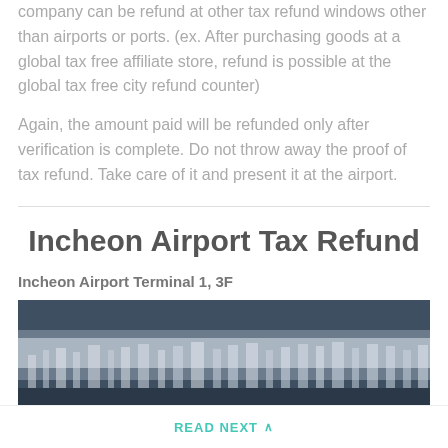company can be refund at other tax refund windows other than airports or ports. (ex. After purchasing goods at a global tax free affiliate store, refund is possible at the global tax free city refund counter)
Again, the amount paid will be refunded only after verification is complete. Do not throw away the proof of tax refund. Take care of it and present it at the airport.
Incheon Airport Tax Refund
Incheon Airport Terminal 1, 3F
[Figure (photo): Blurred photograph of Incheon Airport terminal exterior or interior view]
READ NEXT ^